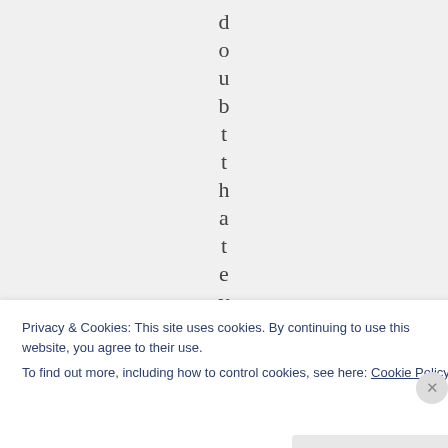d o u b t t h a t e v
Privacy & Cookies: This site uses cookies. By continuing to use this website, you agree to their use.
To find out more, including how to control cookies, see here: Cookie Policy
Close and accept